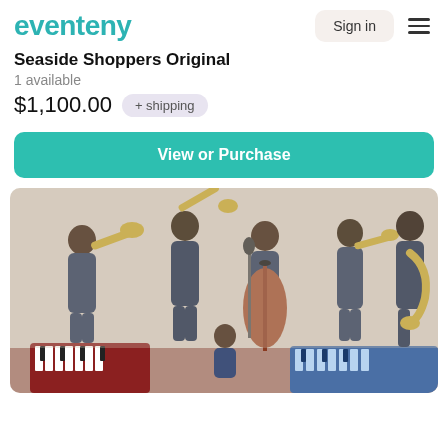eventeny | Sign in
Seaside Shoppers Original
1 available
$1,100.00 + shipping
View or Purchase
[Figure (illustration): Painting of a jazz band with multiple musicians playing trumpet, bass, and saxophone, with a female singer in the foreground at a keyboard.]